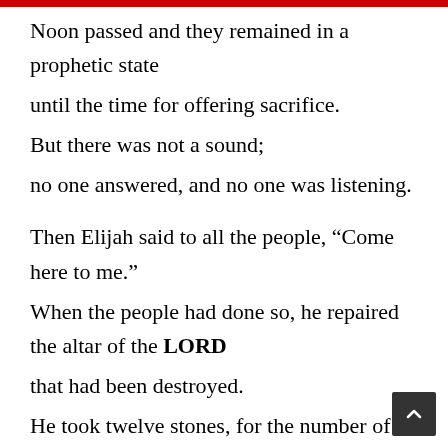Noon passed and they remained in a prophetic state until the time for offering sacrifice. But there was not a sound; no one answered, and no one was listening.

Then Elijah said to all the people, “Come here to me.” When the people had done so, he repaired the altar of the LORD that had been destroyed. He took twelve stones, for the number of tribes of the sons of Jacob,